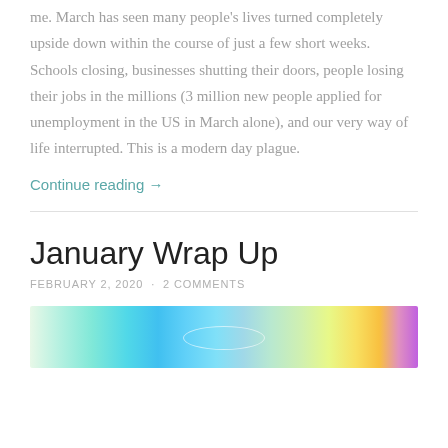me. March has seen many people's lives turned completely upside down within the course of just a few short weeks. Schools closing, businesses shutting their doors, people losing their jobs in the millions (3 million new people applied for unemployment in the US in March alone), and our very way of life interrupted. This is a modern day plague.
Continue reading →
January Wrap Up
FEBRUARY 2, 2020 · 2 COMMENTS
[Figure (photo): Colorful rainbow watercolor banner image at bottom of page, partially visible]